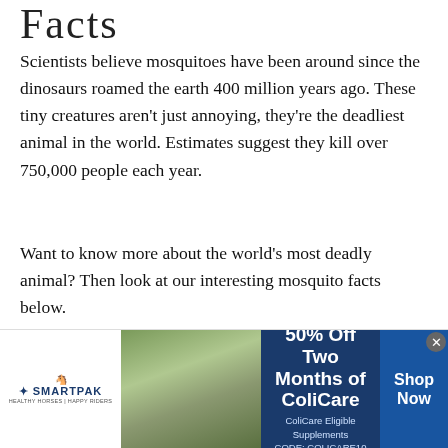Facts
Scientists believe mosquitoes have been around since the dinosaurs roamed the earth 400 million years ago. These tiny creatures aren't just annoying, they're the deadliest animal in the world. Estimates suggest they kill over 750,000 people each year.
Want to know more about the world's most deadly animal? Then look at our interesting mosquito facts below.
[Figure (other): Gray placeholder box with a circular dot icon on the right side]
[Figure (other): SmartPak advertisement banner: 50% Off Two Months of ColiCare, ColiCare Eligible Supplements, CODE: COLICARE10. Shows SmartPak logo with horse icon, photo of person with horse, and Shop Now button on blue background.]